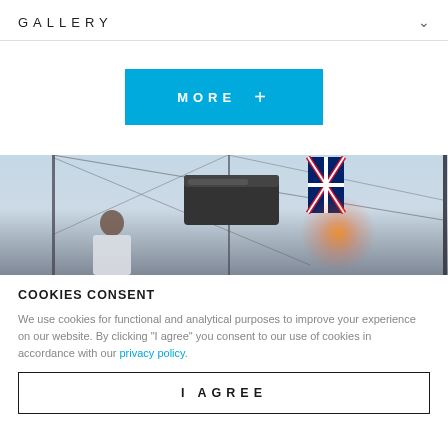GALLERY
MORE +
[Figure (photo): Sailing boat scene viewed from deck level. Masts, rigging wires, a black camera/instrument box, a British flag, and a person in a white shirt visible against an overcast sky. Warm orange light flare near center.]
COOKIES CONSENT
We use cookies for functional and analytical purposes to improve your experience on our website. By clicking “I agree” you consent to our use of cookies in accordance with our privacy policy.
I AGREE